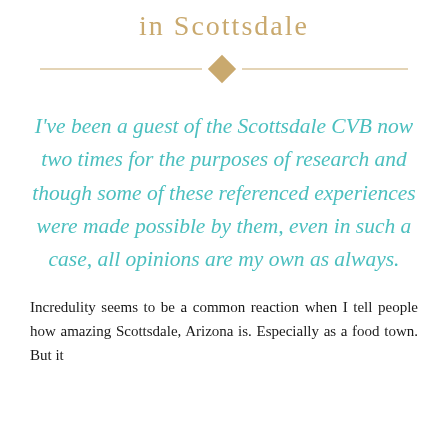in Scottsdale
[Figure (illustration): Decorative horizontal divider with a gold diamond shape in the center and gold lines extending to both sides]
I've been a guest of the Scottsdale CVB now two times for the purposes of research and though some of these referenced experiences were made possible by them, even in such a case, all opinions are my own as always.
Incredulity seems to be a common reaction when I tell people how amazing Scottsdale, Arizona is. Especially as a food town. But it